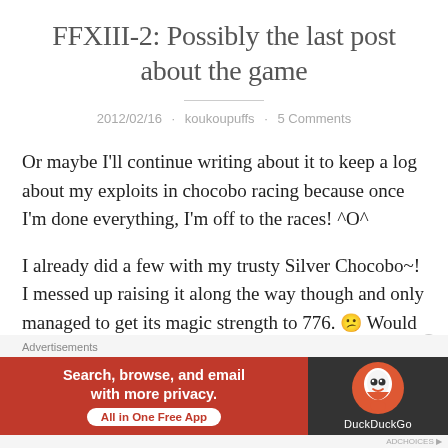FFXIII-2: Possibly the last post about the game
2012/02/16 · koukoupuffs · 5 Comments
Or maybe I'll continue writing about it to keep a log about my exploits in chocobo racing because once I'm done everything, I'm off to the races! ^O^
I already did a few with my trusty Silver Chocobo~! I messed up raising it along the way though and only managed to get its magic strength to 776. 😕 Would have liked to see it at 800 but oh well. It's got enough stamina to last the 1800 meter races so it's all good.
Advertisements
[Figure (other): DuckDuckGo advertisement banner: Search, browse, and email with more privacy. All in One Free App. Shows DuckDuckGo logo on dark background.]